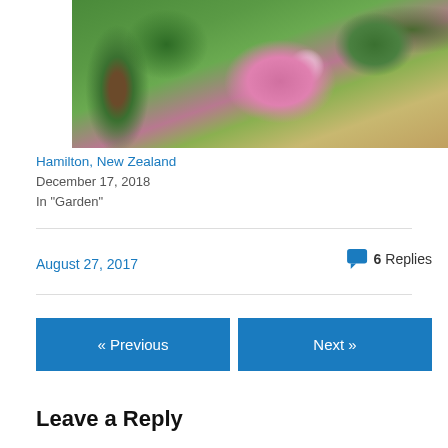[Figure (photo): Garden photo showing lush green trees and shrubs, pink hydrangea flowers, a white decorative bench on a stone path, and a wooden pergola structure in the background. Hamilton, New Zealand garden.]
Hamilton, New Zealand
December 17, 2018
In "Garden"
August 27, 2017
6 Replies
« Previous
Next »
Leave a Reply